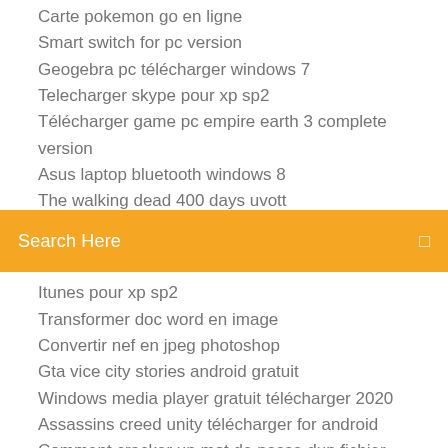Carte pokemon go en ligne
Smart switch for pc version
Geogebra pc télécharger windows 7
Telecharger skype pour xp sp2
Télécharger game pc empire earth 3 complete version
Asus laptop bluetooth windows 8
The walking dead 400 days uvott
[Figure (screenshot): Orange search bar with text 'Search Here' and a search icon on the right]
Itunes pour xp sp2
Transformer doc word en image
Convertir nef en jpeg photoshop
Gta vice city stories android gratuit
Windows media player gratuit télécharger 2020
Assassins creed unity télécharger for android
Comment cracker un mot de passe dun fichier rar
Telecharger application caf mobile
Driver wifi windows 8 32 bits
Désactiver mise à jour drivers windows 10